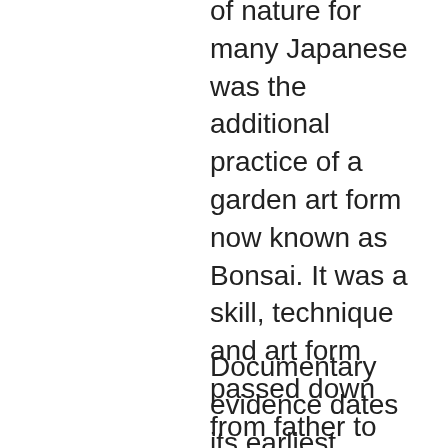The ultimate expression for a love of nature for many Japanese was the additional practice of a garden art form now known as Bonsai. It was a skill, technique and art form passed down from father to son, carried on by the sons of those who devoted their lives to it.
Documentary evidence dates its earliest beginnings from the latter part of the Heian dynasty in the eleventh century. It was further developed during the Tokugawa period, when the third Shogun Iyemitsu took a great interest in what is a unique, refined and noble art that takes living trees and successfully miniaturises